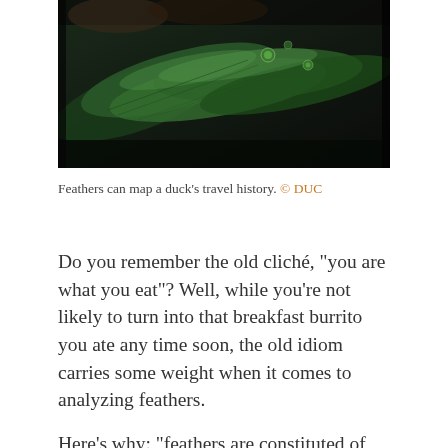[Figure (photo): Close-up photograph of iridescent green and dark duck feathers with water droplets]
Feathers can map a duck’s travel history. © DUC
Do you remember the old cliché, “you are what you eat”? Well, while you’re not likely to turn into that breakfast burrito you ate any time soon, the old idiom carries some weight when it comes to analyzing feathers.
Here’s why: “feathers are constituted of the elements in the bird’s food,” says Howerter. Every single food item that a bird harvests from nature will have its own unique